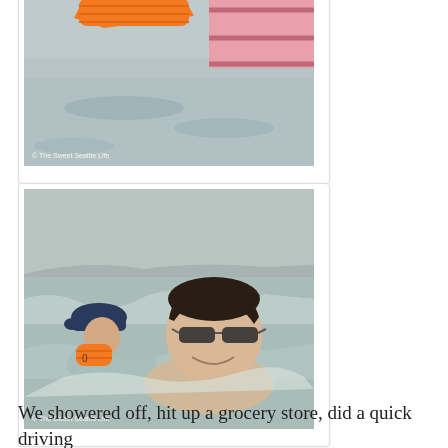[Figure (photo): Close-up underwater/surface view showing an orange swim floatie/arm band and pink striped swimsuit fabric in grayish-blue water. Watermark: © The Sweet Seattle Life]
[Figure (photo): Two people in open water: a child wearing a navy cap and orange arm floaties, and a smiling adult man with dark wet hair and sunglasses, both in churning gray-green sea water. Watermark: © The Sweet Seattle Life]
We showered off, hit up a grocery store, did a quick driving